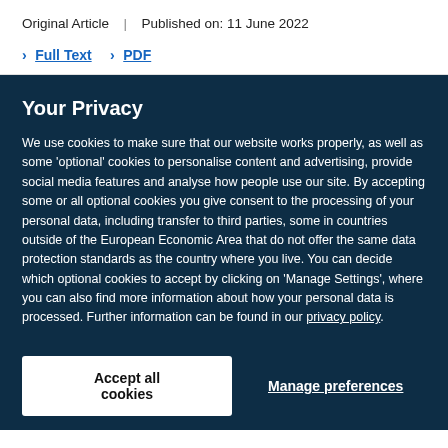Original Article | Published on: 11 June 2022
> Full Text > PDF
Your Privacy
We use cookies to make sure that our website works properly, as well as some ‘optional’ cookies to personalise content and advertising, provide social media features and analyse how people use our site. By accepting some or all optional cookies you give consent to the processing of your personal data, including transfer to third parties, some in countries outside of the European Economic Area that do not offer the same data protection standards as the country where you live. You can decide which optional cookies to accept by clicking on ‘Manage Settings’, where you can also find more information about how your personal data is processed. Further information can be found in our privacy policy.
Accept all cookies
Manage preferences